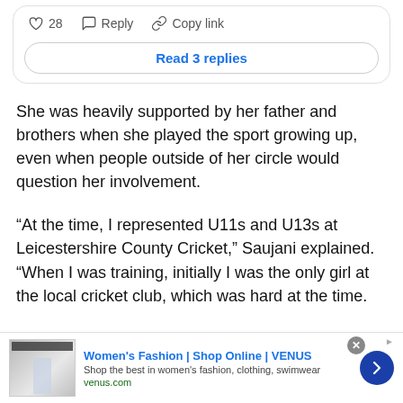[Figure (screenshot): Social media comment action bar with heart icon showing 28 likes, reply icon, and copy link icon, followed by a 'Read 3 replies' button]
She was heavily supported by her father and brothers when she played the sport growing up, even when people outside of her circle would question her involvement.
“At the time, I represented U11s and U13s at Leicestershire County Cricket,” Saujani explained. “When I was training, initially I was the only girl at the local cricket club, which was hard at the time.
[Figure (screenshot): Advertisement banner for Women's Fashion | Shop Online | VENUS with logo image, text 'Shop the best in women's fashion, clothing, swimwear', URL venus.com, close button, and blue arrow button]